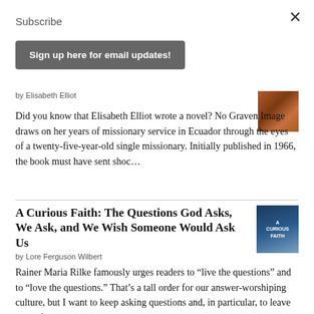Subscribe
Sign up here for email updates!
by Elisabeth Elliot
Did you know that Elisabeth Elliot wrote a novel? No Graven Image draws on her years of missionary service in Ecuador through the eyes of a twenty-five-year-old single missionary. Initially published in 1966, the book must have sent shoc...
A Curious Faith: The Questions God Asks, We Ask, and We Wish Someone Would Ask Us
by Lore Ferguson Wilbert
Rainer Maria Rilke famously urges readers to “live the questions” and to “love the questions.” That’s a tall order for our answer-worshiping culture, but I want to keep asking questions and, in particular, to leave space for God (and oth...